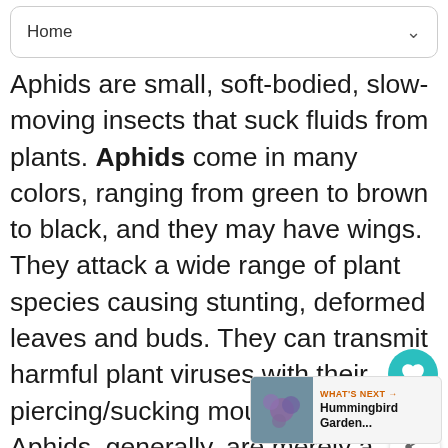Home
Aphids are small, soft-bodied, slow-moving insects that suck fluids from plants. Aphids come in many colors, ranging from green to brown to black, and they may have wings. They attack a wide range of plant species causing stunting, deformed leaves and buds. They can transmit harmful plant viruses with their piercing/sucking mouthparts. Aphids, generally, are merely a nuisance, since it takes many of them to cause serious plant damage. However aphids do produce a sweet substance called honeydew (coveted by ants) which can lead to an unattractive black surface growth called sooty mold. Aphids can increase quickly in numbers and